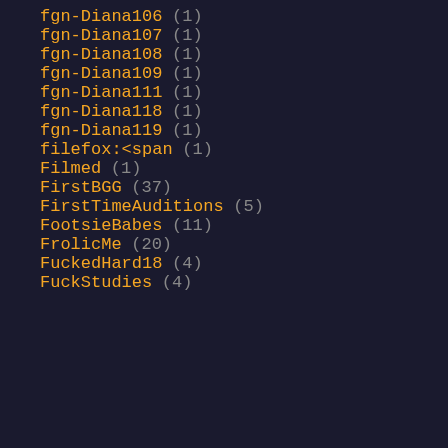fgn-Diana106 (1)
fgn-Diana107 (1)
fgn-Diana108 (1)
fgn-Diana109 (1)
fgn-Diana111 (1)
fgn-Diana118 (1)
fgn-Diana119 (1)
filefox:<span (1)
Filmed (1)
FirstBGG (37)
FirstTimeAuditions (5)
FootsieBabes (11)
FrolicMe (20)
FuckedHard18 (4)
FuckStudies (4)